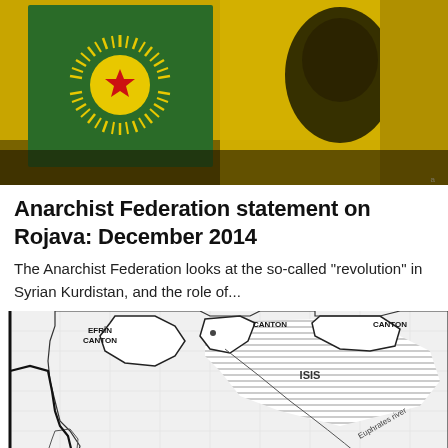[Figure (photo): Photograph of people holding yellow and green Kurdish/YPG flags, including a flag with a sun and red star symbol on green background, and a yellow flag with a person's face/portrait on it.]
Anarchist Federation statement on Rojava: December 2014
The Anarchist Federation looks at the so-called "revolution" in Syrian Kurdistan, and the role of...
[Figure (map): Black and white map showing the region of Rojava/Syrian Kurdistan, with labeled cantons: Efrîn Canton on the west, two other Cantons on the north-east, ISIS territory (shown with horizontal line shading) in the center, Euphrates river labeled, Syria labeled in the center, and Lebanon labeled at the bottom left.]